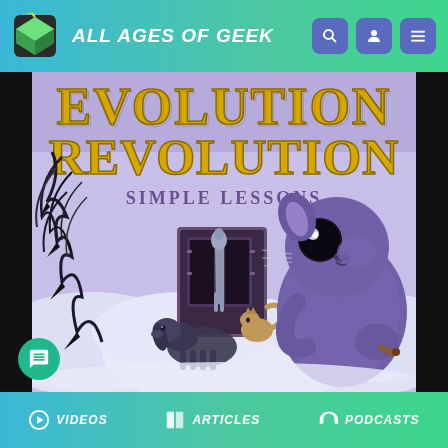ALL AGES OF GEEK
[Figure (illustration): Book cover for 'Evolution Revolution: Simple Lessons' showing large gold stylized text at top, a massive close-up squirrel in the foreground holding something, a dark feathered creature on the left side, a horse standing in a doorway in the middle background, a dog lying down, a cat, and a snowy landscape background. The overall color palette is lavender/purple.]
VIDEOS   ARTICLES   PODCASTS